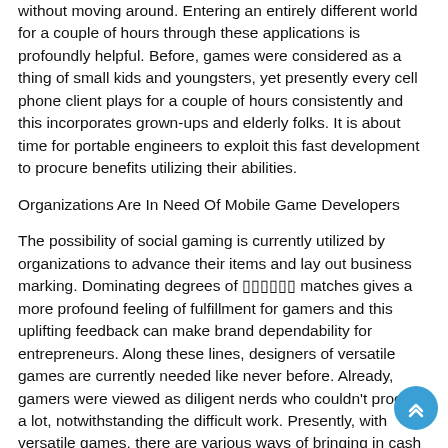without moving around. Entering an entirely different world for a couple of hours through these applications is profoundly helpful. Before, games were considered as a thing of small kids and youngsters, yet presently every cell phone client plays for a couple of hours consistently and this incorporates grown-ups and elderly folks. It is about time for portable engineers to exploit this fast development to procure benefits utilizing their abilities.
Organizations Are In Need Of Mobile Game Developers
The possibility of social gaming is currently utilized by organizations to advance their items and lay out business marking. Dominating degrees of ▯▯▯▯▯▯ matches gives a more profound feeling of fulfillment for gamers and this uplifting feedback can make brand dependability for entrepreneurs. Along these lines, designers of versatile games are currently needed like never before. Already, gamers were viewed as diligent nerds who couldn't procure a lot, notwithstanding the difficult work. Presently, with versatile games, there are various ways of bringing in cash to begin your own gaming creating business.